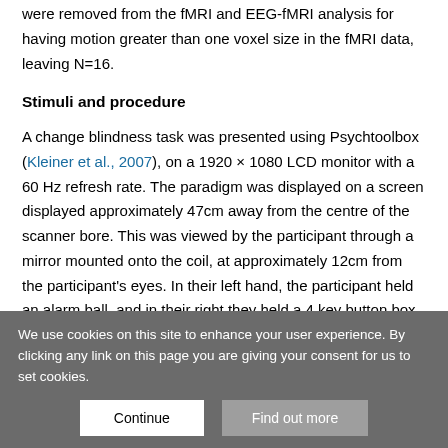were removed from the fMRI and EEG-fMRI analysis for having motion greater than one voxel size in the fMRI data, leaving N=16.
Stimuli and procedure
A change blindness task was presented using Psychtoolbox (Kleiner et al., 2007), on a 1920 × 1080 LCD monitor with a 60 Hz refresh rate. The paradigm was displayed on a screen displayed approximately 47cm away from the centre of the scanner bore. This was viewed by the participant through a mirror mounted onto the coil, at approximately 12cm from the participant's eyes. In their left hand, the participant held an alarm ball, and in their right they held a 4 key button box. They had to
We use cookies on this site to enhance your user experience. By clicking any link on this page you are giving your consent for us to set cookies.